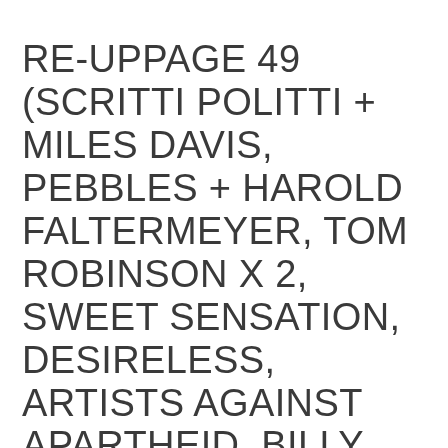RE-UPPAGE 49 (SCRITTI POLITTI + MILES DAVIS, PEBBLES + HAROLD FALTERMEYER, TOM ROBINSON X 2, SWEET SENSATION, DESIRELESS, ARTISTS AGAINST APARTHEID, BILLY IDOL, ORCHESTRAL MANOEUVRES IN THE DARK, GEN X, BRYAN